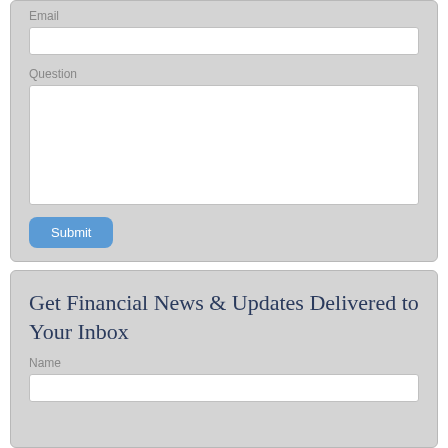Email
Question
Submit
Get Financial News & Updates Delivered to Your Inbox
Name